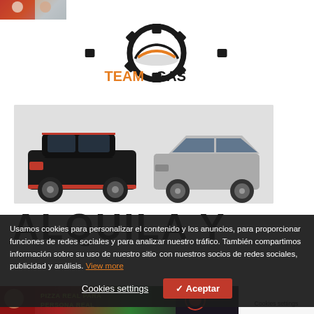[Figure (photo): Partial photo visible at top-left corner showing people]
[Figure (logo): Team Gas logo with gear/car icon and orange/black text]
[Figure (photo): Two cars side by side on grey background - black Kia Soul SUV on left and silver Kia Rio hatchback on right]
ALQUILA Y
Usamos cookies para personalizar el contenido y los anuncios, para proporcionar funciones de redes sociales y para analizar nuestro tráfico. También compartimos información sobre su uso de nuestro sitio con nuestros socios de redes sociales, publicidad y análisis. View more
Cookies settings
✓ Aceptar
[Figure (photo): Pizza advertisement banner with person and text PIZZA REAL PARA PERSONA REAL]
Cookies settings